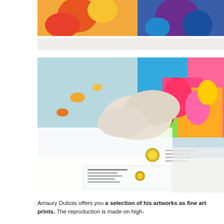[Figure (photo): Top portion of a colorful fine art print laid flat on a white surface, showing vibrant cartoon/comic style artwork with reds, oranges, blues, and purples]
[Figure (photo): Person wearing white gloves handling a large fine art print with colorful underwater/coral reef imagery. A certificate of authenticity with a gold holographic seal is visible on the table, and another certificate in a clear protective sleeve is visible in the lower foreground.]
Amaury Dubois offers you a selection of his artworks as fine art prints. The reproduction is made on high-